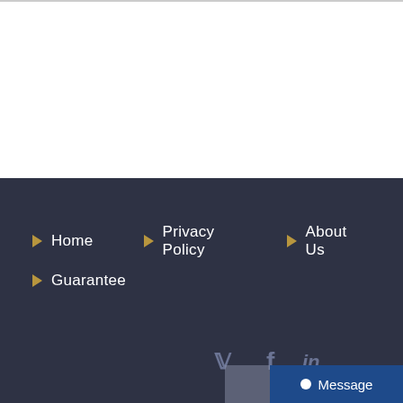Home
Privacy Policy
About Us
Guarantee
[Figure (other): Social media icons: Twitter (bird), Facebook (f), LinkedIn (in)]
Message